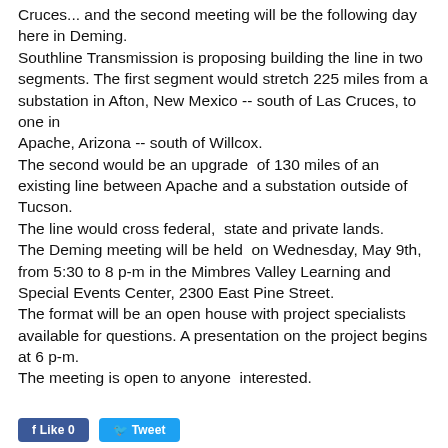Cruces... and the second meeting will be the following day  here in Deming.
Southline Transmission is proposing building the line in two segments. The first segment would stretch 225 miles from a substation in Afton, New Mexico -- south of Las Cruces, to one in
Apache, Arizona -- south of Willcox.
The second would be an upgrade  of 130 miles of an existing line between Apache and a substation outside of  Tucson.
The line would cross federal,  state and private lands.
The Deming meeting will be held  on Wednesday, May 9th, from 5:30 to 8 p-m in the Mimbres Valley Learning and  Special Events Center, 2300 East Pine Street.
The format will be an open house with project specialists available for questions. A presentation on the project begins at 6 p-m.
The meeting is open to anyone  interested.